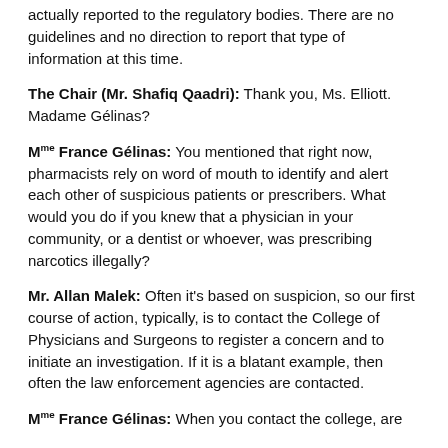actually reported to the regulatory bodies. There are no guidelines and no direction to report that type of information at this time.
The Chair (Mr. Shafiq Qaadri): Thank you, Ms. Elliott. Madame Gélinas?
Mme France Gélinas: You mentioned that right now, pharmacists rely on word of mouth to identify and alert each other of suspicious patients or prescribers. What would you do if you knew that a physician in your community, or a dentist or whoever, was prescribing narcotics illegally?
Mr. Allan Malek: Often it's based on suspicion, so our first course of action, typically, is to contact the College of Physicians and Surgeons to register a concern and to initiate an investigation. If it is a blatant example, then often the law enforcement agencies are contacted.
Mme France Gélinas: When you contact the college, are